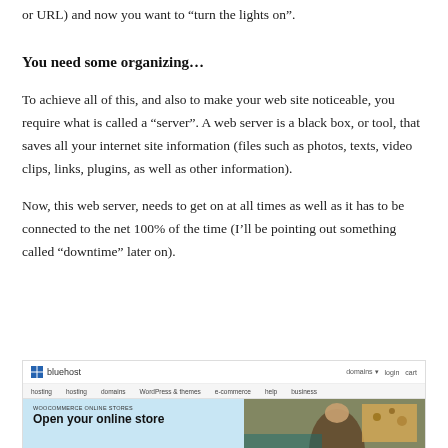or URL) and now you want to “turn the lights on”.
You need some organizing…
To achieve all of this, and also to make your web site noticeable, you require what is called a “server”. A web server is a black box, or tool, that saves all your internet site information (files such as photos, texts, video clips, links, plugins, as well as other information).
Now, this web server, needs to get on at all times as well as it has to be connected to the net 100% of the time (I’ll be pointing out something called “downtime” later on).
[Figure (screenshot): Screenshot of Bluehost website showing WooCommerce online stores page with headline 'Open your online store' and a hero image of a person on teal background with items on a table]